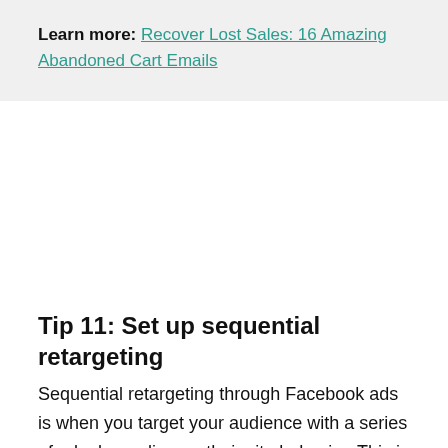Learn more: Recover Lost Sales: 16 Amazing Abandoned Cart Emails
Tip 11: Set up sequential retargeting
Sequential retargeting through Facebook ads is when you target your audience with a series of ads depending on their site behavior. This is an effective type of Facebook ad because it acknowledges the stage people are at in their buying journey. For example, a product page visitor is far more likely to be ready to make a